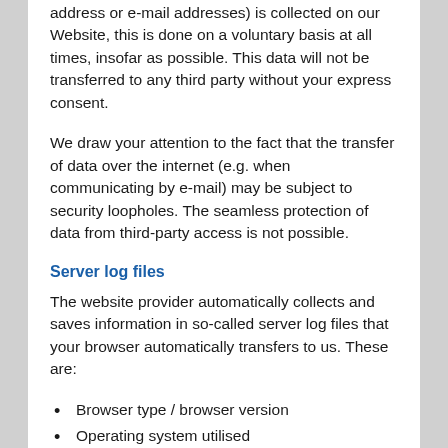address or e-mail addresses) is collected on our Website, this is done on a voluntary basis at all times, insofar as possible. This data will not be transferred to any third party without your express consent.
We draw your attention to the fact that the transfer of data over the internet (e.g. when communicating by e-mail) may be subject to security loopholes. The seamless protection of data from third-party access is not possible.
Server log files
The website provider automatically collects and saves information in so-called server log files that your browser automatically transfers to us. These are:
Browser type / browser version
Operating system utilised
Referrer URL
Host name of the accessing computer
Time of the server enquiry
This data cannot be linked to specific persons. This data is not merged with other data sources. We reserve the right